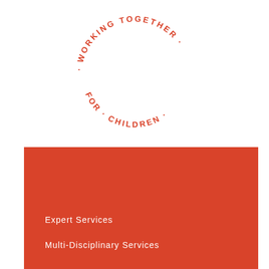[Figure (logo): Circular text logo reading '· WORKING TOGETHER · FOR · CHILDREN ·' arranged in a circle, in red/orange color on white background]
OUR SERVICES
Expert Services
Multi-Disciplinary Services